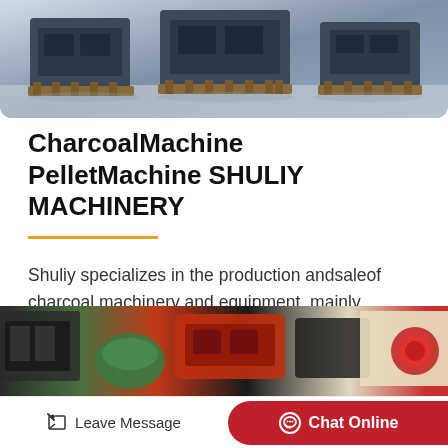[Figure (photo): Industrial charcoal/pellet machinery equipment on a factory floor, dark blue/grey machines on pallets]
CharcoalMachine PelletMachine SHULIY MACHINERY
Shuliy specializes in the production andsaleof charcoal machinery and equipment, mainly including charcoalmachine, pelletmachine, coalbriquetting machine, shisha, and large…
[Figure (illustration): Small rocket/spaceship emoji illustration]
[Figure (photo): Industrial machinery and equipment — second product image with colorful machinery parts]
Leave Message  Chat Online